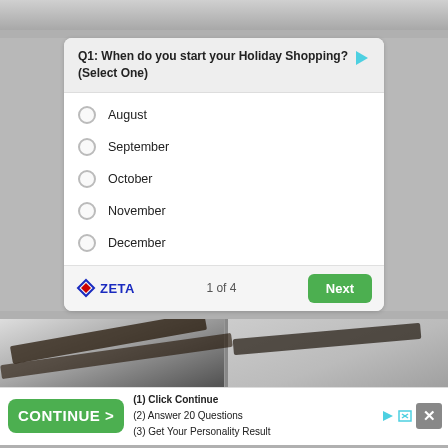[Figure (screenshot): Top gray/white photo strip]
Q1: When do you start your Holiday Shopping? (Select One)
August
September
October
November
December
ZETA   1 of 4   Next
[Figure (photo): Interior room photo with dark ceiling beams]
[Figure (screenshot): Advertisement bar: CONTINUE > (1) Click Continue (2) Answer 20 Questions (3) Get Your Personality Result with close X button]